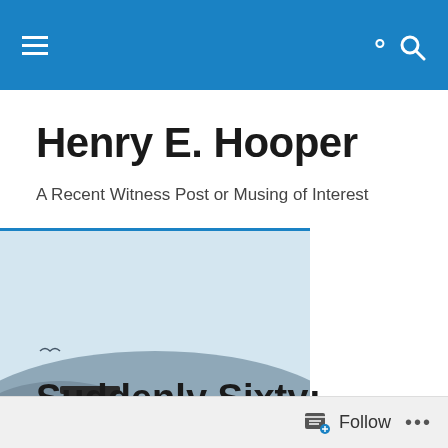Henry E. Hooper — site navigation bar
Henry E. Hooper
A Recent Witness Post or Musing of Interest
[Figure (illustration): Historical illustration of two men in colonial-era clothing, one pointing into the distance. Blue and tan tones, outdoor landscape background.]
Suddenly Sixty: Caffeine
Follow  •••